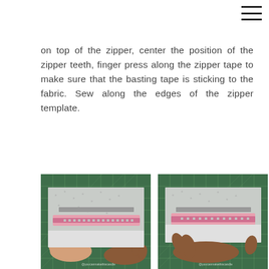[Figure (other): Menu/hamburger icon in top-right corner]
on top of the zipper, center the position of the zipper teeth, finger press along the zipper tape to make sure that the basting tape is sticking to the fabric. Sew along the edges of the zipper template.
[Figure (photo): Top-left: Hands holding a pink zipper being positioned on a patterned fabric rectangle over a green cutting mat]
[Figure (photo): Top-right: Hands pressing/finger-pressing a pink zipper tape onto a patterned fabric piece on a green cutting mat]
[Figure (photo): Bottom-left: Hands holding a patterned fabric pouch with a pink zipper sewn along the top opening]
[Figure (photo): Bottom-right: Two hands pressing flat a patterned fabric with a pink zipper tape visible along the top edge]